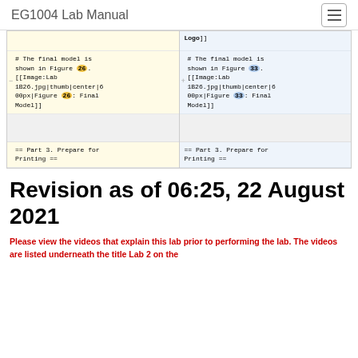EG1004 Lab Manual
[Figure (screenshot): Diff comparison table showing two columns of wiki markup. Left column (yellow background): '# The final model is shown in Figure 26. [[Image:Lab 1B26.jpg|thumb|center|600px|Figure 26: Final Model]]' and '== Part 3. Prepare for Printing =='. Right column (blue background): Same text but with figure number 33 instead of 26.]
Revision as of 06:25, 22 August 2021
Please view the videos that explain this lab prior to performing the lab. The videos are listed underneath the title Lab 2 on the